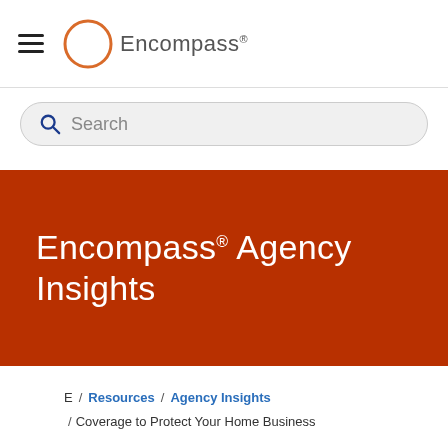Encompass (logo and navigation)
Search
Encompass® Agency Insights
E / Resources / Agency Insights
/ Coverage to Protect Your Home Business